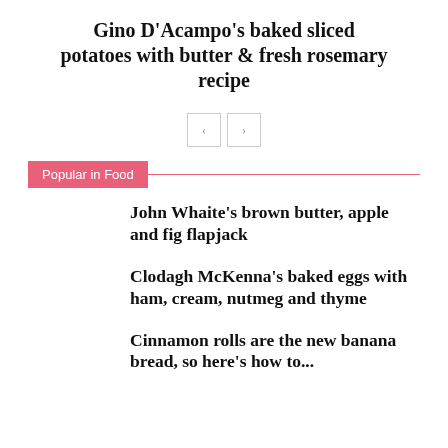Gino D'Acampo's baked sliced potatoes with butter & fresh rosemary recipe
[Figure (other): Navigation arrows: left and right chevron buttons]
Popular in Food
John Whaite's brown butter, apple and fig flapjack
Clodagh McKenna's baked eggs with ham, cream, nutmeg and thyme
Cinnamon rolls are the new banana bread, so here's how to...